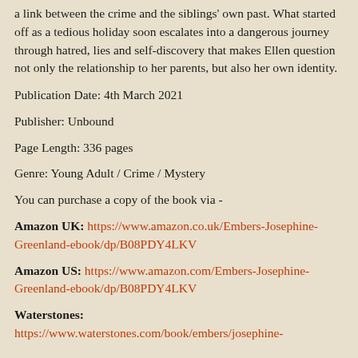a link between the crime and the siblings' own past. What started off as a tedious holiday soon escalates into a dangerous journey through hatred, lies and self-discovery that makes Ellen question not only the relationship to her parents, but also her own identity.
Publication Date: 4th March 2021
Publisher: Unbound
Page Length: 336 pages
Genre: Young Adult / Crime / Mystery
You can purchase a copy of the book via -
Amazon UK: https://www.amazon.co.uk/Embers-Josephine-Greenland-ebook/dp/B08PDY4LKV
Amazon US: https://www.amazon.com/Embers-Josephine-Greenland-ebook/dp/B08PDY4LKV
Waterstones: https://www.waterstones.com/book/embers/josephine-